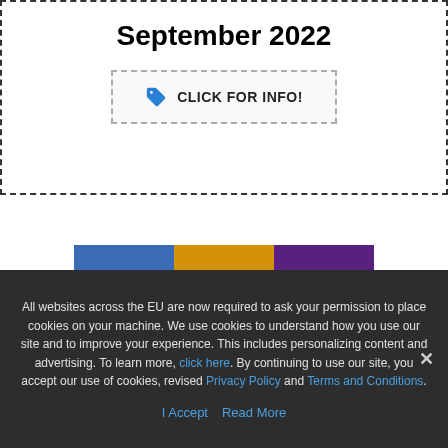September 2022
[Figure (other): Click for info button with price tag icon]
[Figure (infographic): 3x2 grid of Caribbean islands: Bonaire (blue), Grenada (orange), Curaçao (purple), Saba (red), Aruba (green), St. Martin (pink/magenta)]
All websites across the EU are now required to ask your permission to place cookies on your machine. We use cookies to understand how you use our site and to improve your experience. This includes personalizing content and advertising. To learn more, click here. By continuing to use our site, you accept our use of cookies, revised Privacy Policy and Terms and Conditions.
I Accept  Read More